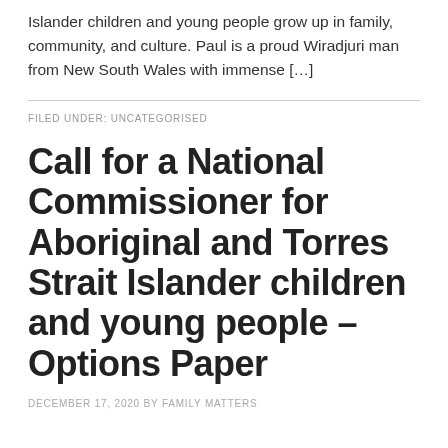Islander children and young people grow up in family, community, and culture. Paul is a proud Wiradjuri man from New South Wales with immense […]
FILED UNDER: UNCATEGORISED
Call for a National Commissioner for Aboriginal and Torres Strait Islander children and young people – Options Paper
DECEMBER 17, 2020 BY FAMILY MATTERS